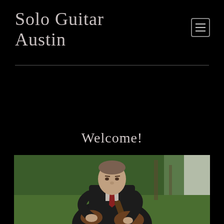Solo Guitar Austin
Welcome!
[Figure (photo): A man in a dark suit with a red tie playing guitar outdoors, focused on the instrument, with green foliage in the background and a white curtain/tent to the right.]